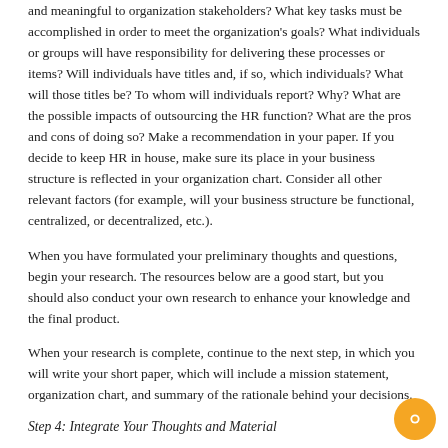and meaningful to organization stakeholders? What key tasks must be accomplished in order to meet the organization's goals? What individuals or groups will have responsibility for delivering these processes or items? Will individuals have titles and, if so, which individuals? What will those titles be? To whom will individuals report? Why? What are the possible impacts of outsourcing the HR function? What are the pros and cons of doing so? Make a recommendation in your paper. If you decide to keep HR in house, make sure its place in your business structure is reflected in your organization chart. Consider all other relevant factors (for example, will your business structure be functional, centralized, or decentralized, etc.).
When you have formulated your preliminary thoughts and questions, begin your research. The resources below are a good start, but you should also conduct your own research to enhance your knowledge and the final product.
When your research is complete, continue to the next step, in which you will write your short paper, which will include a mission statement, organization chart, and summary of the rationale behind your decisions.
Step 4: Integrate Your Thoughts and Material
You've formulated your key questions; you've done your research; you've analyzed and refined your information and thoughts. Now it's time to put it all together and start drafting your deliverable. Assemble a short paper that contains the following: your mission statement of no more than one paragraph your organization chart your rationale, no more than five pages (12 point type, double-